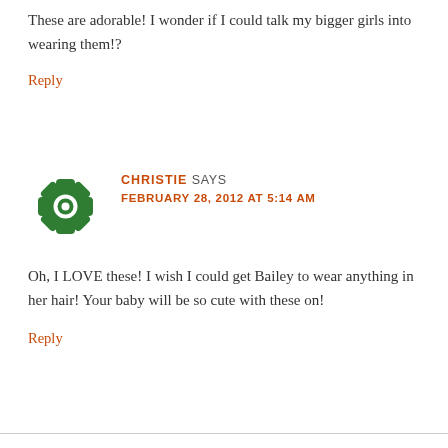These are adorable! I wonder if I could talk my bigger girls into wearing them!?
Reply
CHRISTIE SAYS
FEBRUARY 28, 2012 AT 5:14 AM
Oh, I LOVE these! I wish I could get Bailey to wear anything in her hair! Your baby will be so cute with these on!
Reply